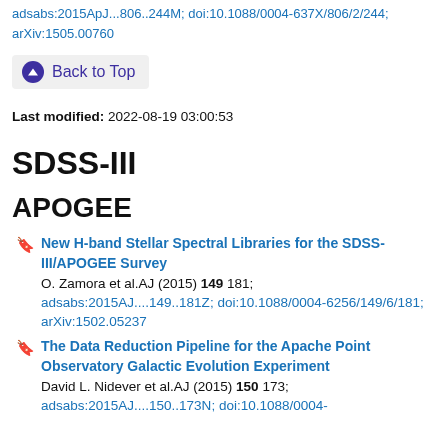adsabs:2015ApJ...806..244M; doi:10.1088/0004-637X/806/2/244; arXiv:1505.00760
Back to Top
Last modified: 2022-08-19 03:00:53
SDSS-III
APOGEE
New H-band Stellar Spectral Libraries for the SDSS-III/APOGEE Survey
O. Zamora et al.AJ (2015) 149 181; adsabs:2015AJ....149..181Z; doi:10.1088/0004-6256/149/6/181; arXiv:1502.05237
The Data Reduction Pipeline for the Apache Point Observatory Galactic Evolution Experiment
David L. Nidever et al.AJ (2015) 150 173; adsabs:2015AJ....150..173N; doi:10.1088/0004-